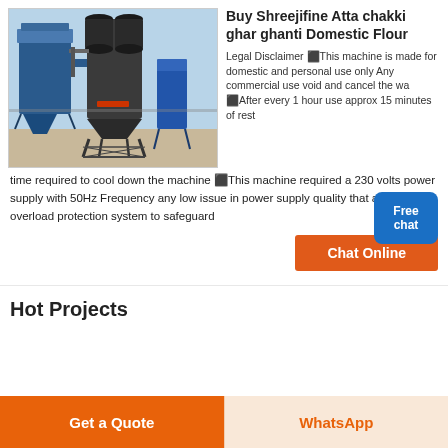[Figure (photo): Industrial machinery photo — large blue industrial flour mill / dust collector equipment with tall cylindrical silos and metal framework structure outdoors]
Buy Shreejifine Atta chakki ghar ghanti Domestic Flour
Legal Disclaimer ⬛This machine is made for domestic and personal use only Any commercial use void and cancel the wa ⬛After every 1 hour use approx 15 minutes of rest time required to cool down the machine ⬛This machine required a 230 volts power supply with 50Hz Frequency any low issue in power supply quality that activates the overload protection system to safeguard
Chat Online
Hot Projects
Get a Quote
WhatsApp